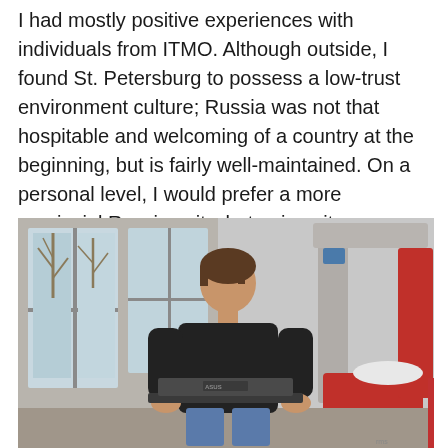I had mostly positive experiences with individuals from ITMO. Although outside, I found St. Petersburg to possess a low-trust environment culture; Russia was not that hospitable and welcoming of a country at the beginning, but is fairly well-maintained. On a personal level, I would prefer a more provincial Russian city, but university resources and infrastructure would be more limited there.
[Figure (photo): A young man wearing a black long-sleeve shirt and jeans sits working on an ASUS laptop in a modern university study space. Behind him is a large window with a tree visible outside. To his right is a modern pod-style chair/booth with grey panels and a red seat. The room has a white/light interior.]